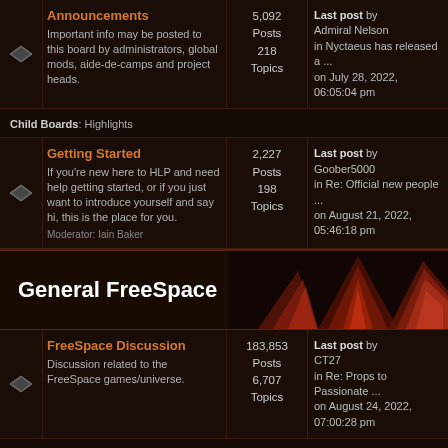Announcements - Important info may be posted to this board by administrators, global mods, aide-de-camps and project heads. 5,092 Posts 218 Topics. Last post by Admiral Nelson in Nyctaeus has released a ... on July 28, 2022, 06:05:04 pm
Child Boards: Highlights
Getting Started - If you're new here to HLP and need help getting started, or if you just want to introduce yourself and say hi, this is the place for you. 2,227 Posts 198 Topics. Last post by Goober5000 in Re: Official new people ... on August 21, 2022, 05:46:18 pm. Moderator: Iain Baker
General FreeSpace
FreeSpace Discussion - Discussion related to the FreeSpace games/universe. 183,853 Posts 6,707 Topics. Last post by CT27 in Re: Props to Passionate ... on August 24, 2022, 07:00:28 pm
Child Boards: Interviews
Multiplayer - Discussion for FreeSpace multiplayer. 5,697. Last post by SerialMascot